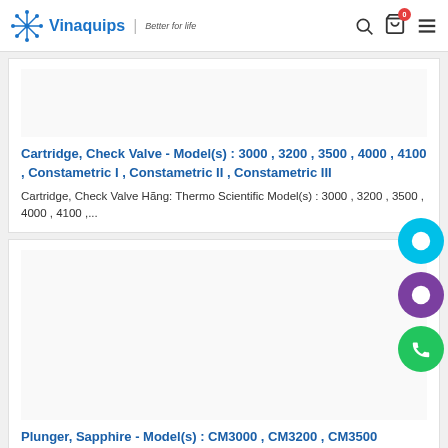Vinaquips | Better for life
Cartridge, Check Valve - Model(s) : 3000 , 3200 , 3500 , 4000 , 4100 , Constametric I , Constametric II , Constametric III
Cartridge, Check Valve Hãng: Thermo Scientific Model(s) : 3000 , 3200 , 3500 , 4000 , 4100 ,...
Plunger, Sapphire - Model(s) : CM3000 , CM3200 , CM3500 , CM4000
Plunger, Sapphire Hãng: Thermo Scientific Model(s) : CM3000 , CM3200 , CM3500 , CM4000 Part Number...